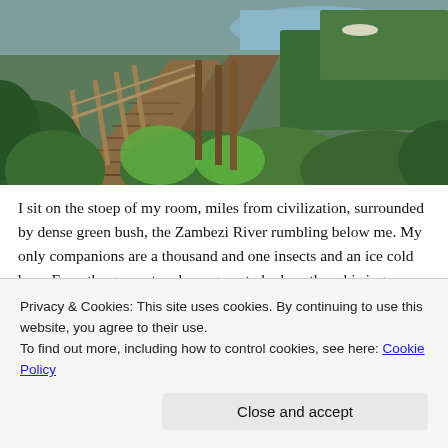[Figure (photo): Outdoor photo showing a wooden dock/walkway leading down toward a river (Zambezi), with lush green vegetation and water with a boat in the background, taken in bright daylight.]
I sit on the stoep of my room, miles from civilization, surrounded by dense green bush, the Zambezi River rumbling below me. My only companions are a thousand and one insects and an ice cold beer. Even the generators have gone to bed, so the whirring ceiling fan has spluttered its last breath and total darkness has
Privacy & Cookies: This site uses cookies. By continuing to use this website, you agree to their use.
To find out more, including how to control cookies, see here: Cookie Policy
Close and accept